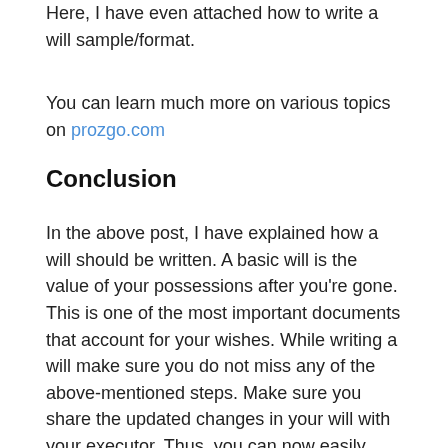Here, I have even attached how to write a will sample/format.
You can learn much more on various topics on prozgo.com
Conclusion
In the above post, I have explained how a will should be written. A basic will is the value of your possessions after you're gone. This is one of the most important documents that account for your wishes. While writing a will make sure you do not miss any of the above-mentioned steps. Make sure you share the updated changes in your will with your executor. Thus, you can now easily write a will on your own by learning how to write a will.